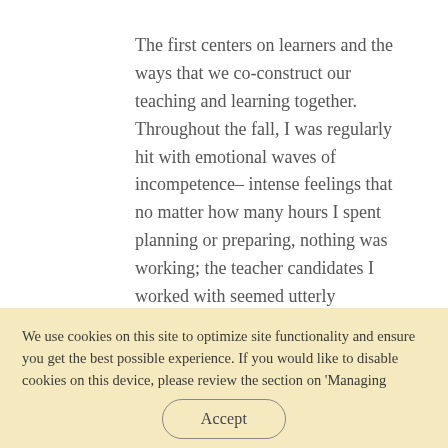The first centers on learners and the ways that we co-construct our teaching and learning together. Throughout the fall, I was regularly hit with emotional waves of incompetence– intense feelings that no matter how many hours I spent planning or preparing, nothing was working; the teacher candidates I worked with seemed utterly disengaged and in my mind could not possibly be learning. When these waves hit,
We use cookies on this site to optimize site functionality and ensure you get the best possible experience. If you would like to disable cookies on this device, please review the section on 'Managing cookies' in our privacy policy. View our Privacy Policy
Accept